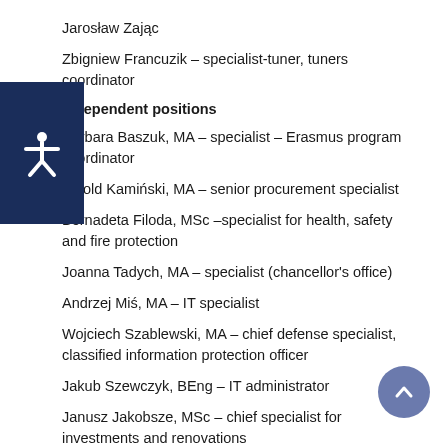Jarosław Zając
Zbigniew Francuzik – specialist-tuner, tuners coordinator
Independent positions
Barbara Baszuk, MA – specialist – Erasmus program coordinator
Witold Kamiński, MA – senior procurement specialist
Bernadeta Filoda, MSc –specialist for health, safety and fire protection
Joanna Tadych, MA – specialist (chancellor's office)
Andrzej Miś, MA – IT specialist
Wojciech Szablewski, MA – chief defense specialist, classified information protection officer
Jakub Szewczyk, BEng – IT administrator
Janusz Jakobsze, MSc – chief specialist for investments and renovations